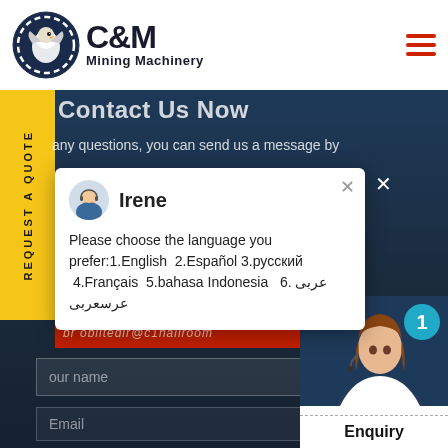[Figure (logo): C&M Mining Machinery logo with eagle/gear circle and text]
Contact Us Now
any questions, you can send us a message by
[Figure (screenshot): Chat popup with agent Irene. Message: Please choose the language you prefer:1.English 2.Español 3.русский 4.Français 5.bahasa Indonesia 6. عربى عرسعربى]
br oblitedin@c11nailroom
our name
Email
[Figure (photo): Customer service agent woman with headset, with teal badge showing number 1]
Click to Chat
Enquiry